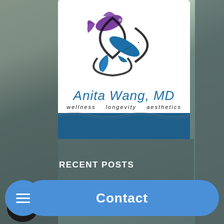[Figure (logo): Anita Wang MD logo with two koi fish (one purple, one blue) in yin-yang style above cursive text reading 'Anita Wang, MD' with tagline 'wellness longevity aesthetics', blue wave stripe at bottom]
RECENT POSTS
[Figure (photo): Small circular thumbnail image, dark background with partial text 'REM' visible]
Contact